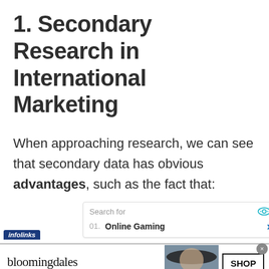1. Secondary Research in International Marketing
When approaching research, we can see that secondary data has obvious advantages, such as the fact that:
[Figure (screenshot): Infolinks in-text ad widget showing a search box with 'Search for' label, eye icon, and item '01. Online Gaming' with a right arrow chevron in teal/blue color.]
[Figure (screenshot): Bloomingdale's advertisement banner showing logo, 'View Today's Top Deals!' tagline, a woman in a wide-brim hat, and a 'SHOP NOW >' button. Has a close X button in gray circle.]